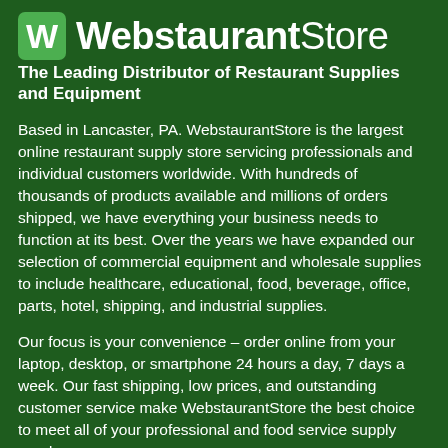[Figure (logo): WebstaurantStore logo with green rounded square icon containing a white W and the text 'WebstaurantStore' in white]
The Leading Distributor of Restaurant Supplies and Equipment
Based in Lancaster, PA. WebstaurantStore is the largest online restaurant supply store servicing professionals and individual customers worldwide. With hundreds of thousands of products available and millions of orders shipped, we have everything your business needs to function at its best. Over the years we have expanded our selection of commercial equipment and wholesale supplies to include healthcare, educational, food, beverage, office, parts, hotel, shipping, and industrial supplies.
Our focus is your convenience – order online from your laptop, desktop, or smartphone 24 hours a day, 7 days a week. Our fast shipping, low prices, and outstanding customer service make WebstaurantStore the best choice to meet all of your professional and food service supply needs.